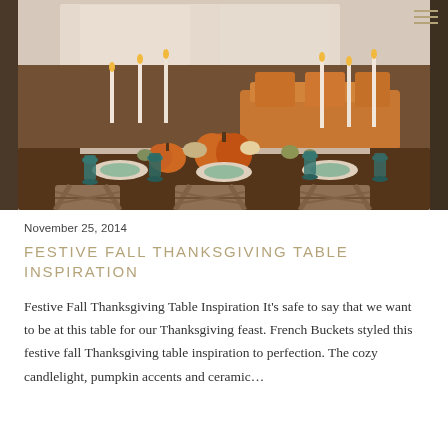[Figure (photo): Festive Thanksgiving table setting with pumpkin centerpieces, white candles, teal glassware, and rustic wooden chairs in a warmly lit indoor venue]
November 25, 2014
FESTIVE FALL THANKSGIVING TABLE INSPIRATION
Festive Fall Thanksgiving Table Inspiration It’s safe to say that we want to be at this table for our Thanksgiving feast. French Buckets styled this festive fall Thanksgiving table inspiration to perfection. The cozy candlelight, pumpkin accents and ceramic…